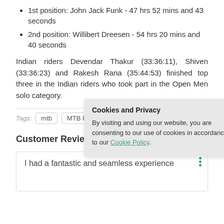1st position: John Jack Funk - 47 hrs 52 mins and 43 seconds
2nd position: Willibert Dreesen - 54 hrs 20 mins and 40 seconds
Indian riders Devendar Thakur (33:36:11), Shiven (33:36:23) and Rakesh Rana (35:44:53) finished top three in the Indian riders who took part in the Open Men solo category.
[Figure (screenshot): Cookie and Privacy popup dialog with title 'Cookies and Privacy', close button X, and text: By visiting and using our website, you are consenting to our use of cookies in accordance to our Cookie Policy. The link 'Cookie Policy' is in green.]
mtb   MTB Hi...
Customer Reviews
I had a fantastic and seamless experience